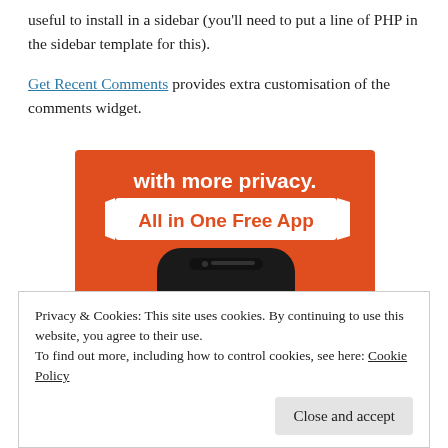useful to install in a sidebar (you'll need to put a line of PHP in the sidebar template for this).
Get Recent Comments provides extra customisation of the comments widget.
[Figure (illustration): DuckDuckGo advertisement banner on an orange background showing 'with more privacy. All in One Free App' text, and a smartphone with the DuckDuckGo duck logo on screen.]
Privacy & Cookies: This site uses cookies. By continuing to use this website, you agree to their use.
To find out more, including how to control cookies, see here: Cookie Policy